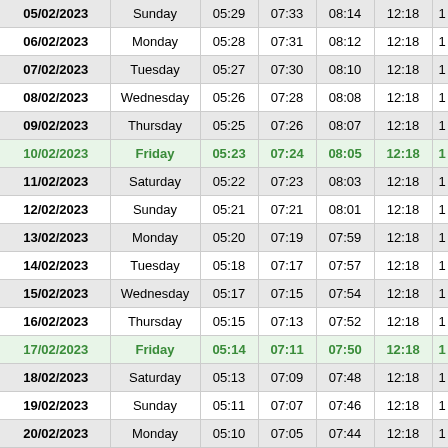| Date | Day | Col3 | Col4 | Col5 | Col6 | Col7 |
| --- | --- | --- | --- | --- | --- | --- |
| 05/02/2023 | Sunday | 05:29 | 07:33 | 08:14 | 12:18 | 1 |
| 06/02/2023 | Monday | 05:28 | 07:31 | 08:12 | 12:18 | 1 |
| 07/02/2023 | Tuesday | 05:27 | 07:30 | 08:10 | 12:18 | 1 |
| 08/02/2023 | Wednesday | 05:26 | 07:28 | 08:08 | 12:18 | 1 |
| 09/02/2023 | Thursday | 05:25 | 07:26 | 08:07 | 12:18 | 1 |
| 10/02/2023 | Friday | 05:23 | 07:24 | 08:05 | 12:18 | 1 |
| 11/02/2023 | Saturday | 05:22 | 07:23 | 08:03 | 12:18 | 1 |
| 12/02/2023 | Sunday | 05:21 | 07:21 | 08:01 | 12:18 | 1 |
| 13/02/2023 | Monday | 05:20 | 07:19 | 07:59 | 12:18 | 1 |
| 14/02/2023 | Tuesday | 05:18 | 07:17 | 07:57 | 12:18 | 1 |
| 15/02/2023 | Wednesday | 05:17 | 07:15 | 07:54 | 12:18 | 1 |
| 16/02/2023 | Thursday | 05:15 | 07:13 | 07:52 | 12:18 | 1 |
| 17/02/2023 | Friday | 05:14 | 07:11 | 07:50 | 12:18 | 1 |
| 18/02/2023 | Saturday | 05:13 | 07:09 | 07:48 | 12:18 | 1 |
| 19/02/2023 | Sunday | 05:11 | 07:07 | 07:46 | 12:18 | 1 |
| 20/02/2023 | Monday | 05:10 | 07:05 | 07:44 | 12:18 | 1 |
| 21/02/2023 | Tuesday | 05:08 | 07:03 | 07:42 | 12:18 | 1 |
| 22/02/2023 | Wednesday | 05:07 | 07:01 | 07:40 | 12:18 | 1 |